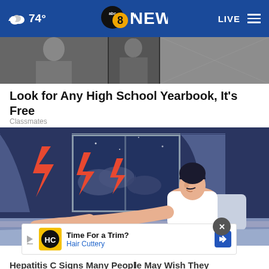74° abc8NEWS LIVE
[Figure (photo): Grayscale image strip showing partial photos of people, likely yearbook-style photos]
Look for Any High School Yearbook, It's Free
Classmates
[Figure (illustration): Illustrated image of a man in a white tank top sitting up in bed at night, with lightning bolt symbols visible through a window behind him, suggesting restless legs or pain]
[Figure (infographic): Advertisement overlay: Time For a Trim? Hair Cuttery logo with yellow background and HC letters]
Hepatitis C Signs Many People May Wish They